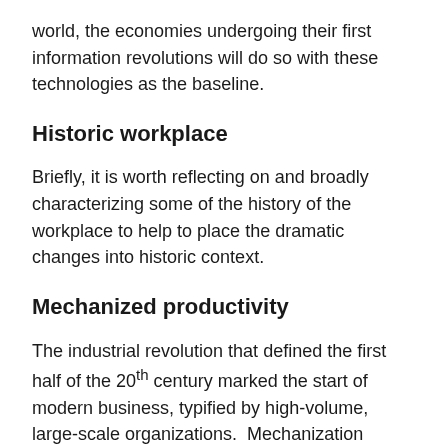world, the economies undergoing their first information revolutions will do so with these technologies as the baseline.
Historic workplace
Briefly, it is worth reflecting on and broadly characterizing some of the history of the workplace to help to place the dramatic changes into historic context.
Mechanized productivity
The industrial revolution that defined the first half of the 20th century marked the start of modern business, typified by high-volume, large-scale organizations.  Mechanization created a culture of business derived from the capabilities